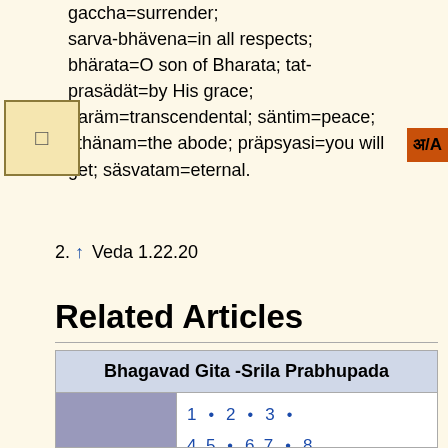gaccha=surrender; sarva-bhävena=in all respects; bhärata=O son of Bharata; tat-prasädät=by His grace; paräm=transcendental; säntim=peace; sthänam=the abode; präpsyasi=you will get; säsvatam=eternal.
2. ↑ Veda 1.22.20
Related Articles
| Bhagavad Gita -Srila Prabhupada |
| --- |
| [image] | 1 • 2 • 3 • 4, 5 • 6, 7 • 8, 9 • 10 • 11 • 12, 13 • 14 • |